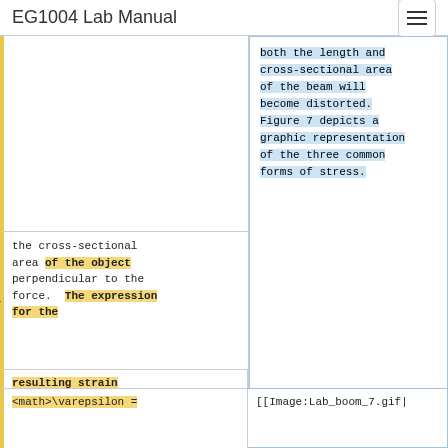EG1004 Lab Manual
both the length and cross-sectional area of the beam will become distorted. Figure 7 depicts a graphic representation of the three common forms of stress.
the cross-sectional area of the object perpendicular to the force. The expression for the
resulting strain <i>e</i> is:</p>
<math>\varepsilon =
[[Image:Lab_boom_7.gif|